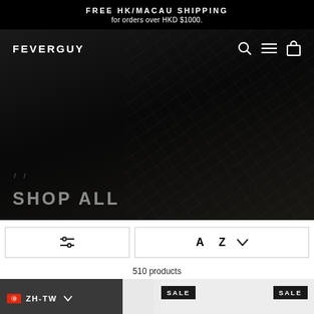FREE HK/MACAU SHIPPING for orders over HKD $1000.
[Figure (screenshot): Dark hero banner with FEVERGUY logo, navigation icons (search, menu, cart), breadcrumb path, and SHOP ALL heading overlaid on dark product photography background]
510 products
ZH-TW
SALE
SALE